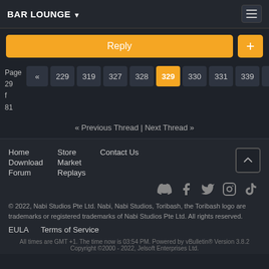BAR LOUNGE
Reply
Page 329 of 381 — pagination: « 229 319 327 328 329 330 331 339 »
« Previous Thread | Next Thread »
Home Store Contact Us Download Market Forum Replays
© 2022, Nabi Studios Pte Ltd. Nabi, Nabi Studios, Toribash, the Toribash logo are trademarks or registered trademarks of Nabi Studios Pte Ltd. All rights reserved.
EULA   Terms of Service
All times are GMT +1. The time now is 03:54 PM. Powered by vBulletin® Version 3.8.2 Copyright ©2000 - 2022, Jelsoft Enterprises Ltd.